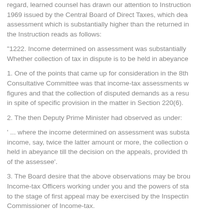regard, learned counsel has drawn our attention to Instruction 1969 issued by the Central Board of Direct Taxes, which deals with assessment which is substantially higher than the returned income. the Instruction reads as follows:
"1222. Income determined on assessment was substantially higher. Whether collection of tax in dispute is to be held in abeyance
1. One of the points that came up for consideration in the 8th Consultative Committee was that income-tax assessments were made at high figures and that the collection of disputed demands as a result was not stayed in spite of specific provision in the matter in Section 220(6).
2. The then Deputy Prime Minister had observed as under:
'... where the income determined on assessment was substantially higher than the returned income, say, twice the latter amount or more, the collection of the tax should be held in abeyance till the decision on the appeals, provided the appeal is filed by the assessee of the assessee'.
3. The Board desire that the above observations may be brought to the notice of all Income-tax Officers working under you and the powers of staying demands up to the stage of first appeal may be exercised by the Inspecting Assistant Commissioner of Income-tax.